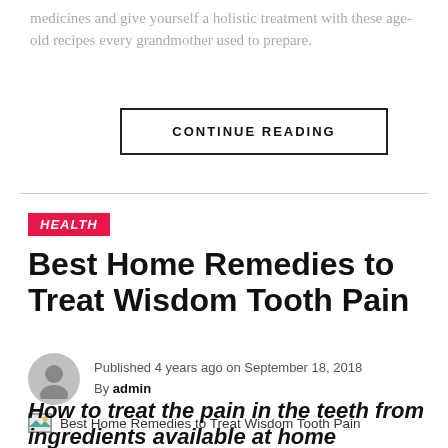medicines and give yourself a holistic treatment with these age-old recipes every grandmother used to prepare.
CONTINUE READING
HEALTH
Best Home Remedies to Treat Wisdom Tooth Pain
Published 4 years ago on September 18, 2018
By admin
[Figure (photo): Best Home Remedies to Treat Wisdom Tooth Pain - article thumbnail image]
How to treat the pain in the teeth from ingredients available at home